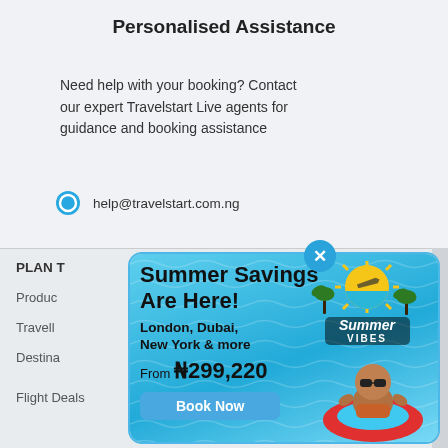Personalised Assistance
Need help with your booking? Contact our expert Travelstart Live agents for guidance and booking assistance
help@travelstart.com.ng
[Figure (infographic): Summer Savings promotional popup ad with blue water pool background, Summer Vibes tropical logo, baby on red float ring. Text: Summer Savings Are Here! London, Dubai, New York & more From ₦299,220. Book Now button. Blue X close button at top right.]
PLAN T
Products
Travellers
Destinations
Flight Deals